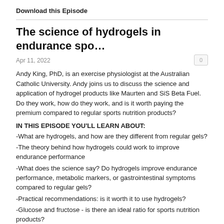Download this Episode
The science of hydrogels in endurance spo…
Apr 11, 2022
Andy King, PhD, is an exercise physiologist at the Australian Catholic University. Andy joins us to discuss the science and application of hydrogel products like Maurten and SiS Beta Fuel. Do they work, how do they work, and is it worth paying the premium compared to regular sports nutrition products?
IN THIS EPISODE YOU'LL LEARN ABOUT:
-What are hydrogels, and how are they different from regular gels?
-The theory behind how hydrogels could work to improve endurance performance
-What does the science say? Do hydrogels improve endurance performance, metabolic markers, or gastrointestinal symptoms compared to regular gels?
-Practical recommendations: is it worth it to use hydrogels?
-Glucose and fructose - is there an ideal ratio for sports nutrition products?